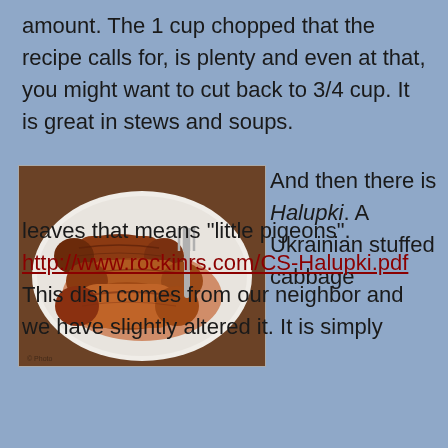amount. The 1 cup chopped that the recipe calls for, is plenty and even at that, you might want to cut back to 3/4 cup. It is great in stews and soups.
[Figure (photo): A plate of Halupki (Ukrainian stuffed cabbage leaves) with sauce, with a fork visible]
And then there is Halupki. A Ukrainian stuffed cabbage leaves that means "little pigeons". http://www.rockinrs.com/CS-Halupki.pdf This dish comes from our neighbor and we have slightly altered it. It is simply